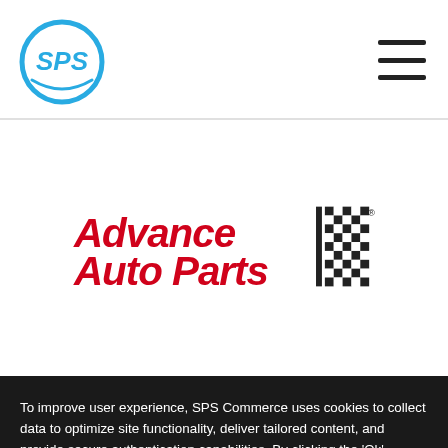[Figure (logo): SPS Commerce circular logo with stylized 'SPS' letters in teal/cyan color]
[Figure (logo): Advance Auto Parts logo in red italic bold text with checkered racing flag design]
To improve user experience, SPS Commerce uses cookies to collect data to optimize site functionality, deliver tailored content, and provide secure authentication capabilities. By clicking the 'Ok' button, you acknowledge and are accepting cookies and may proceed your use of this website. You may also select Learn More to visit our Privacy Policy.
Ok